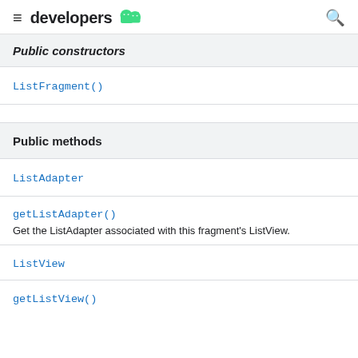developers
Public constructors
ListFragment()
Public methods
ListAdapter
getListAdapter()
Get the ListAdapter associated with this fragment's ListView.
ListView
getListView()